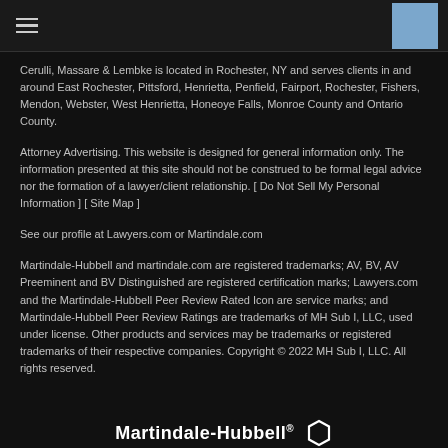Navigation header with hamburger menu and blue box
Cerulli, Massare & Lembke is located in Rochester, NY and serves clients in and around East Rochester, Pittsford, Henrietta, Penfield, Fairport, Rochester, Fishers, Mendon, Webster, West Henrietta, Honeoye Falls, Monroe County and Ontario County.
Attorney Advertising. This website is designed for general information only. The information presented at this site should not be construed to be formal legal advice nor the formation of a lawyer/client relationship. [ Do Not Sell My Personal Information ] [ Site Map ]
See our profile at Lawyers.com or Martindale.com
Martindale-Hubbell and martindale.com are registered trademarks; AV, BV, AV Preeminent and BV Distinguished are registered certification marks; Lawyers.com and the Martindale-Hubbell Peer Review Rated Icon are service marks; and Martindale-Hubbell Peer Review Ratings are trademarks of MH Sub I, LLC, used under license. Other products and services may be trademarks or registered trademarks of their respective companies. Copyright © 2022 MH Sub I, LLC. All rights reserved.
[Figure (logo): Martindale-Hubbell logo with hexagon icon]